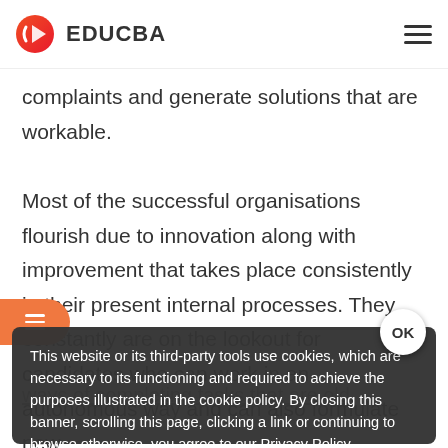EDUCBA
complaints and generate solutions that are workable. Most of the successful organisations flourish due to innovation along with improvement that takes place consistently in their present internal processes. They constantly are on the lookout for candidates who can work in an autonomous way and can also formulate new ways of completing tasks that are old.
This website or its third-party tools use cookies, which are necessary to its functioning and required to achieve the purposes illustrated in the cookie policy. By closing this banner, scrolling this page, clicking a link or continuing to browse otherwise, you agree to our Privacy Policy